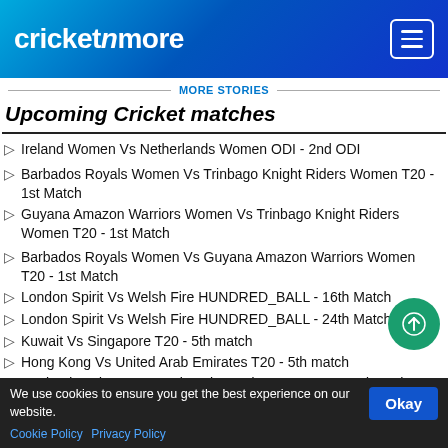cricketnmore
MORE STORIES
Upcoming Cricket matches
Ireland Women Vs Netherlands Women ODI - 2nd ODI
Barbados Royals Women Vs Trinbago Knight Riders Women T20 - 1st Match
Guyana Amazon Warriors Women Vs Trinbago Knight Riders Women T20 - 1st Match
Barbados Royals Women Vs Guyana Amazon Warriors Women T20 - 1st Match
London Spirit Vs Welsh Fire HUNDRED_BALL - 16th Match
London Spirit Vs Welsh Fire HUNDRED_BALL - 24th Match
Kuwait Vs Singapore T20 - 5th match
Hong Kong Vs United Arab Emirates T20 - 5th match
England Under-19s Vs Sri Lanka Under-19s TEST - 2nd Youth Test
We use cookies to ensure you get the best experience on our website.
Cookie Policy  Privacy Policy